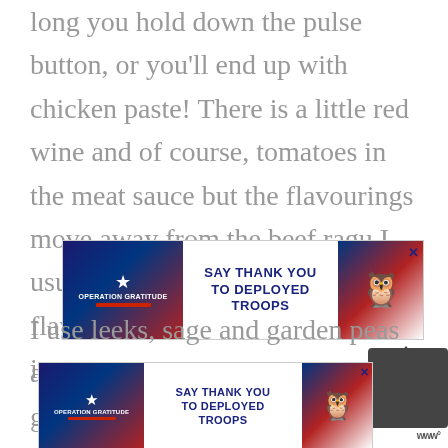long you hold down the pulse button, or you'll end up with chicken paste! There is a little red wine and of course, tomatoes in the meat sauce but the flavourings move away from the beef ragu I usually make to bring out the flavour of the chicken, not mask it.
[Figure (screenshot): Operation Gratitude advertisement banner: Say Thank You To Deployed Troops]
I use leeks, sage and garden peas and it works a charm. The peas give a li
[Figure (screenshot): Operation Gratitude advertisement banner (smaller, partially visible): Say Thank You To Deployed Troops]